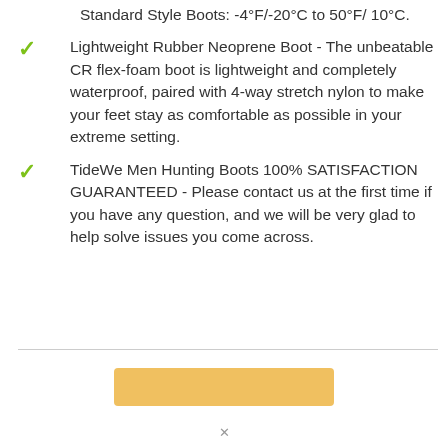Standard Style Boots: -4°F/-20°C to 50°F/ 10°C.
Lightweight Rubber Neoprene Boot - The unbeatable CR flex-foam boot is lightweight and completely waterproof, paired with 4-way stretch nylon to make your feet stay as comfortable as possible in your extreme setting.
TideWe Men Hunting Boots 100% SATISFACTION GUARANTEED - Please contact us at the first time if you have any question, and we will be very glad to help solve issues you come across.